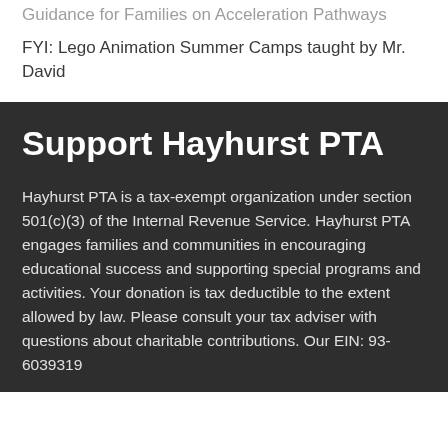Guidance for Families on Acceleration Pathways
FYI: Lego Animation Summer Camps taught by Mr. David
Support Hayhurst PTA
Hayhurst PTA is a tax-exempt organization under section 501(c)(3) of the Internal Revenue Service. Hayhurst PTA engages families and communities in encouraging educational success and supporting special programs and activities. Your donation is tax deductible to the extent allowed by law. Please consult your tax adviser with questions about charitable contributions. Our EIN: 93-6039319